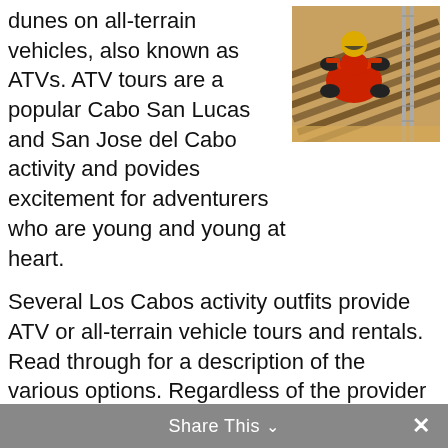dunes on all-terrain vehicles, also known as ATVs. ATV tours are a popular Cabo San Lucas and San Jose del Cabo activity and povides excitement for adventurers who are young and young at heart.
[Figure (photo): Photo of a person in a red helmet riding a red ATV on a wooden bridge or track, viewed from above.]
Several Los Cabos activity outfits provide ATV or all-terrain vehicle tours and rentals. Read through for a description of the various options. Regardless of the provider you choose, remember safety is a top priority. Helmets are required. Most tour companies provide helmets, protective goggles, and refreshments. You can opt for a special insurance to cover you and the equipment, too.
Share This ∨   ✕